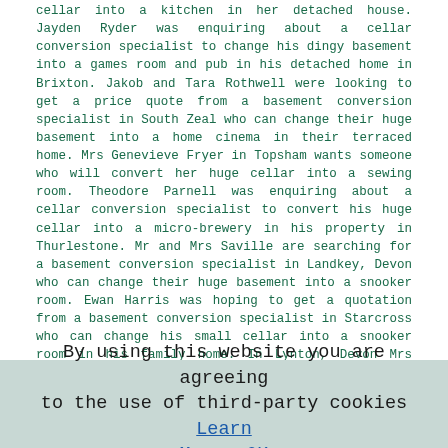cellar into a kitchen in her detached house. Jayden Ryder was enquiring about a cellar conversion specialist to change his dingy basement into a games room and pub in his detached home in Brixton. Jakob and Tara Rothwell were looking to get a price quote from a basement conversion specialist in South Zeal who can change their huge basement into a home cinema in their terraced home. Mrs Genevieve Fryer in Topsham wants someone who will convert her huge cellar into a sewing room. Theodore Parnell was enquiring about a cellar conversion specialist to convert his huge cellar into a micro-brewery in his property in Thurlestone. Mr and Mrs Saville are searching for a basement conversion specialist in Landkey, Devon who can change their huge basement into a snooker room. Ewan Harris was hoping to get a quotation from a basement conversion specialist in Starcross who can change his small cellar into a snooker room in his family home. In Lynton, Devon Mrs Betty Warburton needs a cellar conversion specialist to change her basement into an office. All these local people conducted a search for "cellar conversion Devon" and discovered this webpage on either Google, Bing or Yahoo.
Friends & Family
By using this website you are agreeing to the use of third-party cookies Learn More  OK